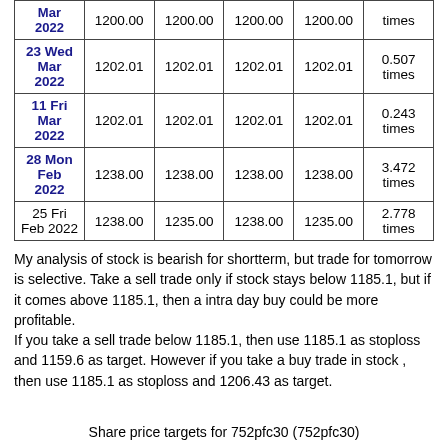| Date | Open | High | Low | Close | Volume |
| --- | --- | --- | --- | --- | --- |
| Mar 2022 | 1200.00 | 1200.00 | 1200.00 | 1200.00 | times |
| 23 Wed Mar 2022 | 1202.01 | 1202.01 | 1202.01 | 1202.01 | 0.507 times |
| 11 Fri Mar 2022 | 1202.01 | 1202.01 | 1202.01 | 1202.01 | 0.243 times |
| 28 Mon Feb 2022 | 1238.00 | 1238.00 | 1238.00 | 1238.00 | 3.472 times |
| 25 Fri Feb 2022 | 1238.00 | 1235.00 | 1238.00 | 1235.00 | 2.778 times |
My analysis of stock is bearish for shortterm, but trade for tomorrow is selective. Take a sell trade only if stock stays below 1185.1, but if it comes above 1185.1, then a intra day buy could be more profitable.
If you take a sell trade below 1185.1, then use 1185.1 as stoploss and 1159.6 as target. However if you take a buy trade in stock , then use 1185.1 as stoploss and 1206.43 as target.
Share price targets for 752pfc30 (752pfc30)